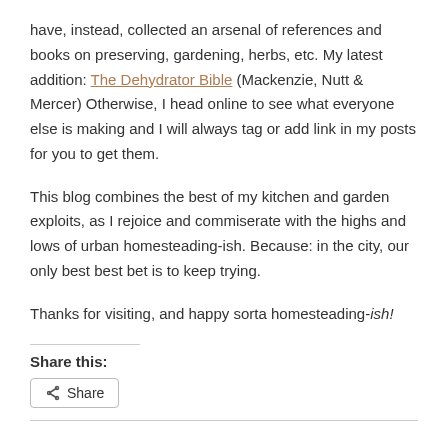have, instead, collected an arsenal of references and books on preserving, gardening, herbs, etc. My latest addition: The Dehydrator Bible (Mackenzie, Nutt & Mercer) Otherwise, I head online to see what everyone else is making and I will always tag or add link in my posts for you to get them.
This blog combines the best of my kitchen and garden exploits, as I rejoice and commiserate with the highs and lows of urban homesteading-ish. Because: in the city, our only best best bet is to keep trying.
Thanks for visiting, and happy sorta homesteading-ish!
Share this: